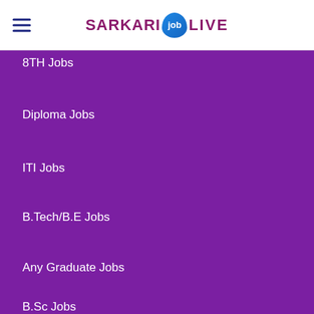SARKARI job LIVE
8TH Jobs
Diploma Jobs
ITI Jobs
B.Tech/B.E Jobs
Any Graduate Jobs
B.Sc Jobs
BCA Jobs